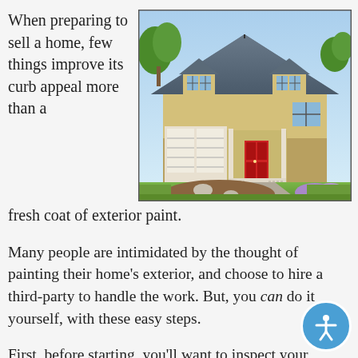When preparing to sell a home, few things improve its curb appeal more than a fresh coat of exterior paint.
[Figure (photo): A large two-story craftsman-style house with a red door, three-car garage, manicured lawn, landscaping with mulch and rocks, and trees in the background.]
Many people are intimidated by the thought of painting their home's exterior, and choose to hire a third-party to handle the work. But, you can do it yourself, with these easy steps.
First, before starting, you'll want to inspect your home. Examine all walls, look under the eaves, and pay attention to door frames and windows.